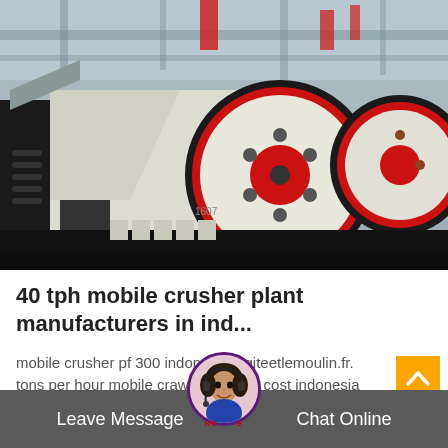[Figure (photo): Industrial jaw crusher machine with large red and black flywheels, white body, mounted on a mobile frame inside a factory or industrial shed. Two large circular flywheels visible, one in foreground and one in background.]
40 tph mobile crusher plant manufacturers in ind...
mobile crusher pf 300 indonesia legiteetlemoulin.fr. tons per hour mobile crawler crusher cost indonesia